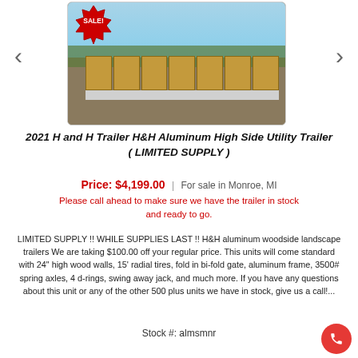[Figure (photo): Photo of H&H aluminum high side utility trailer with wood sides, shown outdoors. Red SALE! starburst badge in top-left corner of image. Left and right navigation arrows on sides.]
2021 H and H Trailer H&H Aluminum High Side Utility Trailer ( LIMITED SUPPLY )
Price: $4,199.00  |  For sale in Monroe, MI
Please call ahead to make sure we have the trailer in stock and ready to go.
LIMITED SUPPLY !! WHILE SUPPLIES LAST !! H&H aluminum woodside landscape trailers We are taking $100.00 off your regular price. This units will come standard with 24" high wood walls, 15' radial tires, fold in bi-fold gate, aluminum frame, 3500# spring axles, 4 d-rings, swing away jack, and much more. If you have any questions about this unit or any of the other 500 plus units we have in stock, give us a call!...
Stock #: almsmnr